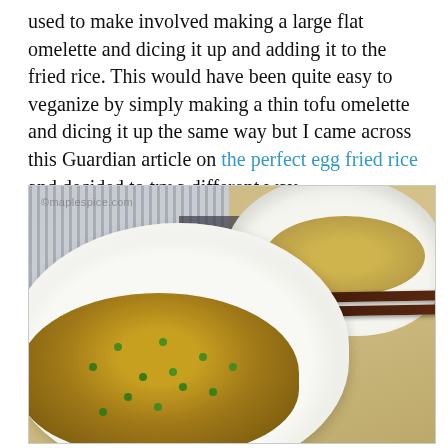used to make involved making a large flat omelette and dicing it up and adding it to the fried rice. This would have been quite easy to veganize by simply making a thin tofu omelette and dicing it up the same way but I came across this Guardian article on the perfect egg fried rice and decided to try a different way.
[Figure (photo): Two white bowls of fried rice with peas and green onions on a bamboo mat, with chopsticks resting across the front bowl and a blue striped cloth in the background. Watermark: ©maplespice.com]